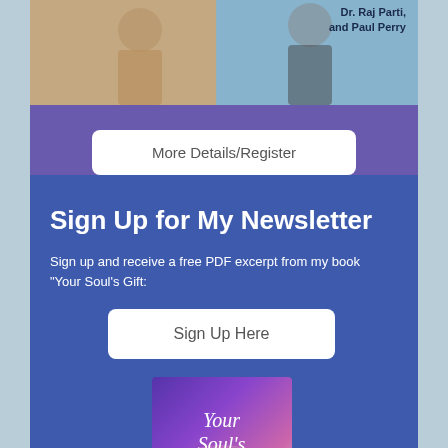[Figure (photo): Photo of two men, with text overlay showing author names: Dr. Raj Parti, and Paul Perry]
Dr. Raj Parti,
and Paul Perry
More Details/Register
Sign Up for My Newsletter
Sign up and receive a free PDF excerpt from my book "Your Soul's Gift:
Sign Up Here
[Figure (photo): Book cover showing 'Your Soul's' text with purple/pink cosmic background and angel wing imagery]